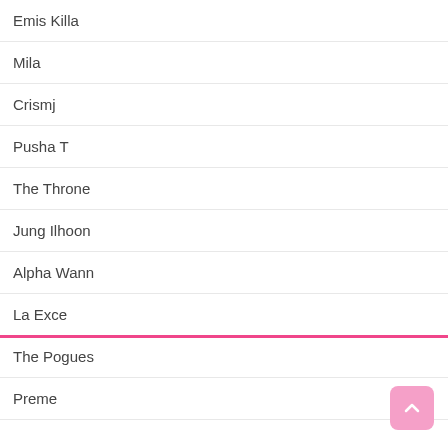Emis Killa
Mila
Crismj
Pusha T
The Throne
Jung Ilhoon
Alpha Wann
La Exce
The Pogues
Preme